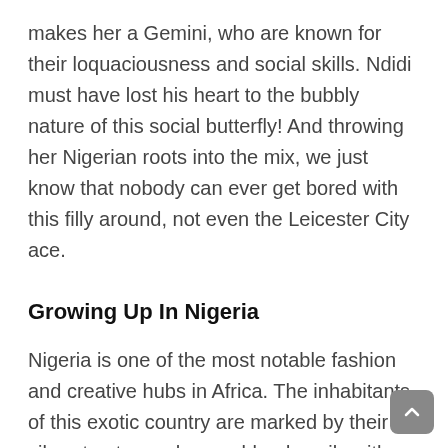makes her a Gemini, who are known for their loquaciousness and social skills. Ndidi must have lost his heart to the bubbly nature of this social butterfly! And throwing her Nigerian roots into the mix, we just know that nobody can ever get bored with this filly around, not even the Leicester City ace.
Growing Up In Nigeria
Nigeria is one of the most notable fashion and creative hubs in Africa. The inhabitants of this exotic country are marked by their vibrant nature, who can blend easily with people of all sorts of cultures and experiences. Perhaps growing up in